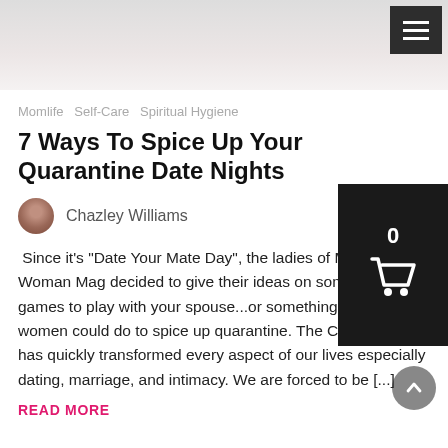[Figure (photo): Top hero image strip showing a blurred light-colored background, partially cropped]
Momlife · Self-Care · Spiritual Hygiene
7 Ways To Spice Up Your Quarantine Date Nights
Chazley Williams
Since it's "Date Your Mate Day", the ladies of Mama Woman Mag decided to give their ideas on some couple's games to play with your spouse...or something playful that women could do to spice up quarantine. The Coronavirus has quickly transformed every aspect of our lives especially dating, marriage, and intimacy. We are forced to be [...]
READ MORE